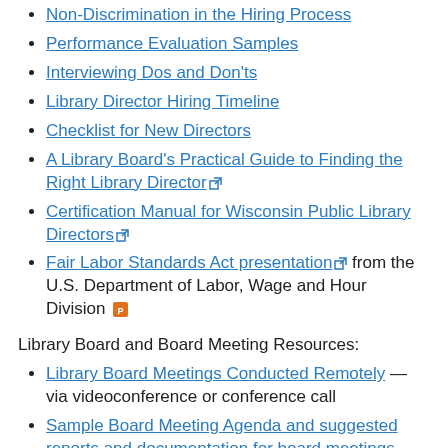Non-Discrimination in the Hiring Process
Performance Evaluation Samples
Interviewing Dos and Don'ts
Library Director Hiring Timeline
Checklist for New Directors
A Library Board's Practical Guide to Finding the Right Library Director [external link]
Certification Manual for Wisconsin Public Library Directors [external link]
Fair Labor Standards Act presentation [external link] from the U.S. Department of Labor, Wage and Hour Division [PPT icon]
Library Board and Board Meeting Resources:
Library Board Meetings Conducted Remotely — via videoconference or conference call
Sample Board Meeting Agenda and suggested reports and documentation for board meetings
Sample Annual Library Board Calendar
Records Retention Schedule Summary [XLS icon] (updated Nov